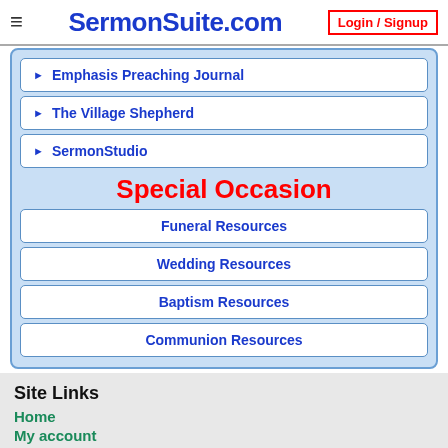SermonSuite.com  Login / Signup
Emphasis Preaching Journal
The Village Shepherd
SermonStudio
Special Occasion
Funeral Resources
Wedding Resources
Baptism Resources
Communion Resources
Site Links
Home
My account